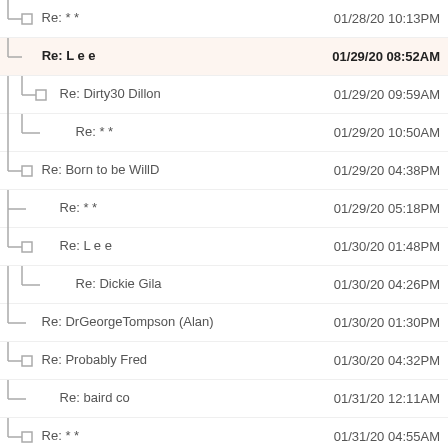Re: * *  01/28/20 10:13PM
Re: L e e  01/29/20 08:52AM
Re: Dirty30 Dillon  01/29/20 09:59AM
Re: * *  01/29/20 10:50AM
Re: Born to be WillD  01/29/20 04:38PM
Re: * *  01/29/20 05:18PM
Re: L e e  01/30/20 01:48PM
Re: Dickie Gila  01/30/20 04:26PM
Re: DrGeorgeTompson (Alan)  01/30/20 01:30PM
Re: Probably Fred  01/30/20 04:32PM
Re: baird co  01/31/20 12:11AM
Re: * *  01/31/20 04:55AM
Re: Dirty30 Dillon  01/31/20 10:25AM
Re: - Joe -  01/31/20 10:31AM